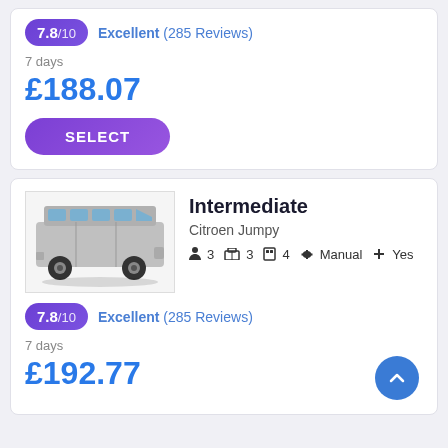7.8/10  Excellent (285 Reviews)
7 days
£188.07
SELECT
[Figure (photo): Silver Citroen Jumpy van/minibus, side view on white background]
Intermediate
Citroen Jumpy
3  3  4  Manual  Yes
7.8/10  Excellent (285 Reviews)
7 days
£192.77